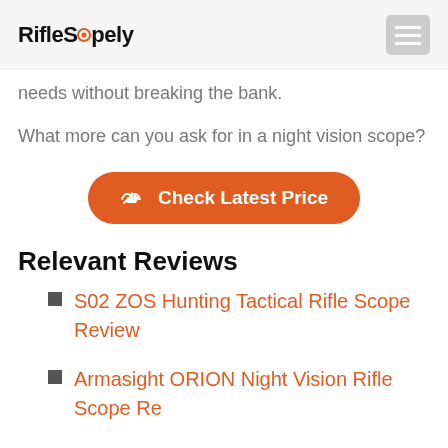RifleScopely
needs without breaking the bank.
What more can you ask for in a night vision scope?
Check Latest Price
Relevant Reviews
S02 ZOS Hunting Tactical Rifle Scope Review
Armasight ORION Night Vision Rifle Scope Review